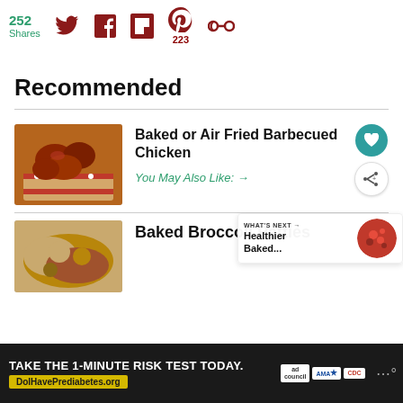252 Shares | Twitter | Facebook | Flipboard | Pinterest 223 | Other
Recommended
[Figure (photo): Photo of barbecue chicken pieces in a patriotic-themed basket with red, white and blue stars decoration]
Baked or Air Fried Barbecued Chicken
You May Also Like: →
[Figure (photo): Photo of baked broccoli patties, close-up]
Baked Broccoli Patties
[Figure (infographic): WHAT'S NEXT → Healthier Baked... with a round thumbnail of red food]
[Figure (infographic): Advertisement banner: TAKE THE 1-MINUTE RISK TEST TODAY. DolHavePrediabetes.org with ad council, AMA, and CDC logos]